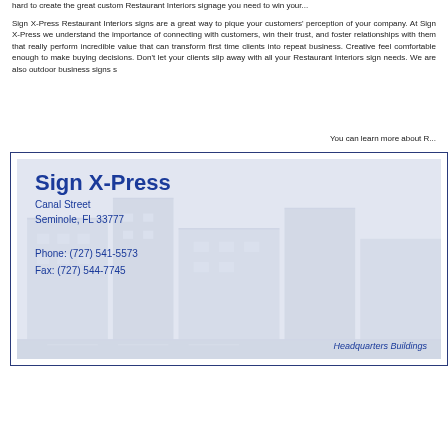hard to create the great custom Restaurant Interiors signage you need to win your...
Sign X-Press Restaurant Interiors signs are a great way to pique your customers' perception of your company. At Sign X-Press we understand the importance of connecting with customers, win their trust, and foster relationships with them that really perform. We offer incredible value that can transform first time clients into repeat business. Creative signs make customers feel comfortable enough to make buying decisions. Don't let your clients slip away. Let us help you with all your Restaurant Interiors sign needs. We are also outdoor business signs s...
You can learn more about R...
[Figure (other): Sign X-Press company contact card with building photograph background. Shows company name, address (Canal Street, Seminole, FL 33777), phone (727) 541-5573, fax (727) 544-7745, and caption 'Headquarters Buildings'.]